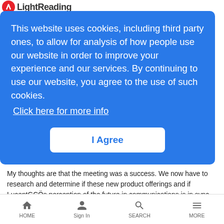Light Reading
r d olio. s murky; riod of the stomers Lucent can be that
This website uses cookies, including third party ones, to allow for analysis of how people use our website in order to improve your experience and our services. By continuing to use our website, you agree to the use of such cookies. Click here for more info
I Agree
My thoughts are that the meeting was a success. We now have to research and determine if these new product offerings and if LucentGÇÖs perception of the future in communications is in sync with our never-ending research and thoughts. I suspect that many in the community will both applaud and criticize Lucent for their direction. I will be doing a lot of research in the immediate future to attempt to determine if the Lucent vision is what I perceive to be the future of the communications network. My gut feeling is that the answer will be
HOME   Sign In   SEARCH   MORE